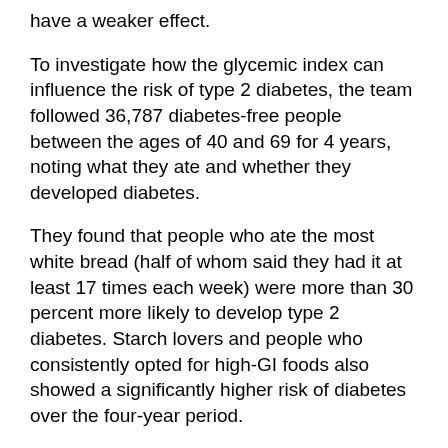have a weaker effect.
To investigate how the glycemic index can influence the risk of type 2 diabetes, the team followed 36,787 diabetes-free people between the ages of 40 and 69 for 4 years, noting what they ate and whether they developed diabetes.
They found that people who ate the most white bread (half of whom said they had it at least 17 times each week) were more than 30 percent more likely to develop type 2 diabetes. Starch lovers and people who consistently opted for high-GI foods also showed a significantly higher risk of diabetes over the four-year period.
High-GI foods may increase diabetes risk by causing weight gain, which increases the risk of type 2 diabetes. Also, a high GI diet may also require the pancreas to produce a lot of insulin to deal with the high blood glucose levels, and this may exhaust the cells that